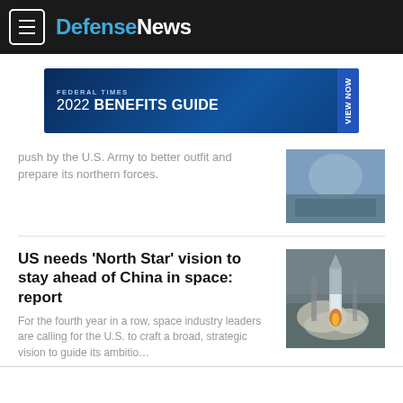Defense News
[Figure (other): Federal Times 2022 Benefits Guide advertisement banner with VIEW NOW call to action]
push by the U.S. Army to better outfit and prepare its northern forces.
[Figure (photo): Cold weather military equipment/forces image]
US needs ‘North Star’ vision to stay ahead of China in space: report
For the fourth year in a row, space industry leaders are calling for the U.S. to craft a broad, strategic vision to guide its ambitio…
[Figure (photo): Rocket launch with smoke and flames, likely a Chinese space launch vehicle]